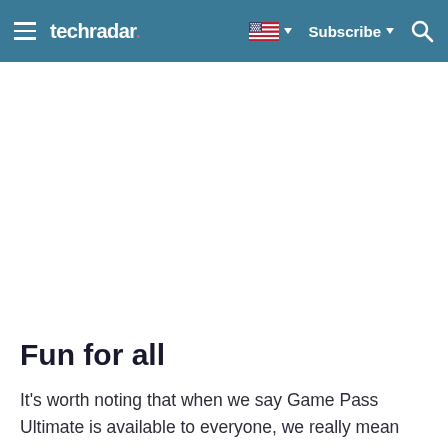techradar   Subscribe
Fun for all
It's worth noting that when we say Game Pass Ultimate is available to everyone, we really mean